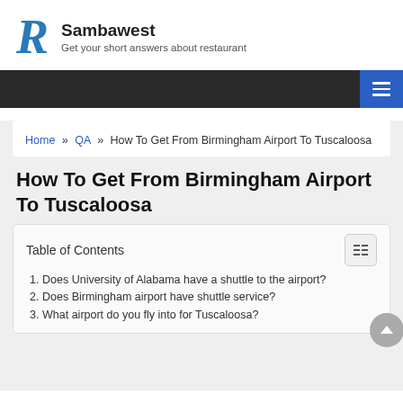Sambawest — Get your short answers about restaurant
Home » QA » How To Get From Birmingham Airport To Tuscaloosa
How To Get From Birmingham Airport To Tuscaloosa
Table of Contents
1. Does University of Alabama have a shuttle to the airport?
2. Does Birmingham airport have shuttle service?
3. What airport do you fly into for Tuscaloosa?